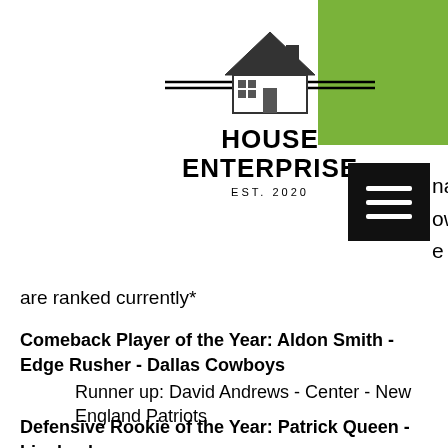[Figure (logo): House Enterprise logo with house icon, double horizontal lines, bold text HOUSE ENTERPRISE, and EST. 2020]
nal ow e they are ranked currently*
Comeback Player of the Year: Aldon Smith - Edge Rusher - Dallas Cowboys

Runner up: David Andrews - Center - New England Patriots
Defensive Rookie of the Year: Patrick Queen - Linebacker -